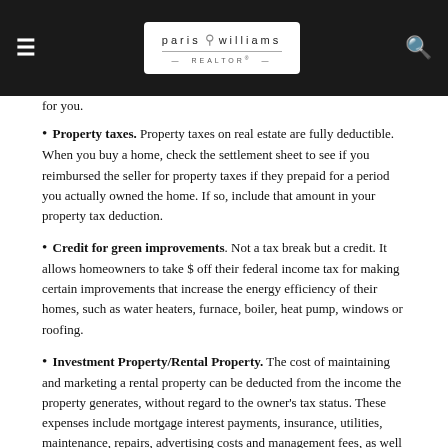paris williams REALTOR
for you.
Property taxes. Property taxes on real estate are fully deductible. When you buy a home, check the settlement sheet to see if you reimbursed the seller for property taxes if they prepaid for a period you actually owned the home. If so, include that amount in your property tax deduction.
Credit for green improvements. Not a tax break but a credit. It allows homeowners to take $ off their federal income tax for making certain improvements that increase the energy efficiency of their homes, such as water heaters, furnace, boiler, heat pump, windows or roofing.
Investment Property/Rental Property. The cost of maintaining and marketing a rental property can be deducted from the income the property generates, without regard to the owner’s tax status. These expenses include mortgage interest payments, insurance, utilities, maintenance, repairs, advertising costs and management fees, as well as the non-cash cost of depreciation.